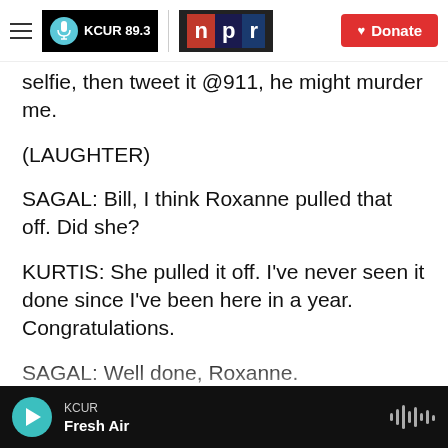[Figure (screenshot): KCUR 89.3 and NPR navigation bar with Donate button]
selfie, then tweet it @911, he might murder me.
(LAUGHTER)
SAGAL: Bill, I think Roxanne pulled that off. Did she?
KURTIS: She pulled it off. I've never seen it done since I've been here in a year. Congratulations.
SAGAL: Well done, Roxanne.
(APPLAUSE)
KCUR Fresh Air